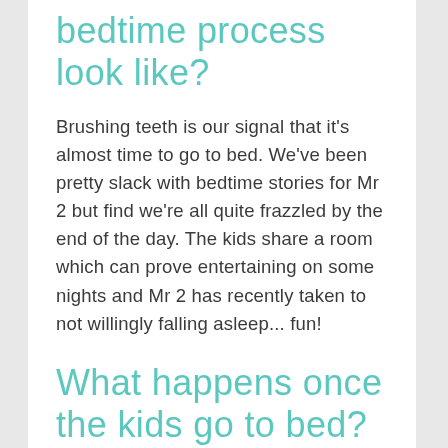bedtime process look like?
Brushing teeth is our signal that it's almost time to go to bed. We've been pretty slack with bedtime stories for Mr 2 but find we're all quite frazzled by the end of the day. The kids share a room which can prove entertaining on some nights and Mr 2 has recently taken to not willingly falling asleep... fun!
What happens once the kids go to bed? (eg